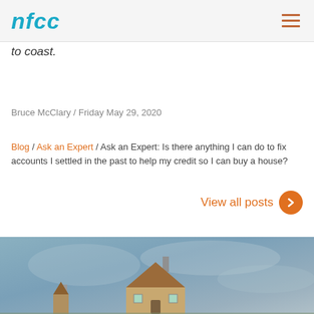nfcc
to coast.
Bruce McClary / Friday May 29, 2020
Blog / Ask an Expert / Ask an Expert: Is there anything I can do to fix accounts I settled in the past to help my credit so I can buy a house?
View all posts
[Figure (photo): Photo of a small model house with a brown roof against a grey-blue blurred background]